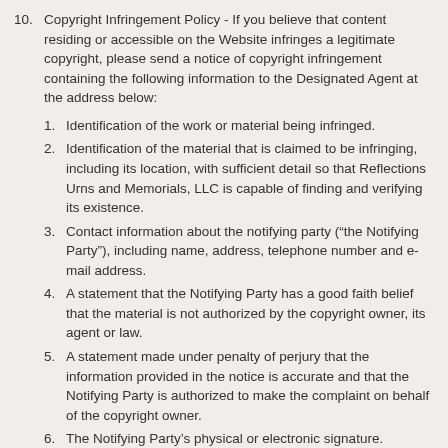10. Copyright Infringement Policy - If you believe that content residing or accessible on the Website infringes a legitimate copyright, please send a notice of copyright infringement containing the following information to the Designated Agent at the address below:
1. Identification of the work or material being infringed.
2. Identification of the material that is claimed to be infringing, including its location, with sufficient detail so that Reflections Urns and Memorials, LLC is capable of finding and verifying its existence.
3. Contact information about the notifying party (“the Notifying Party”), including name, address, telephone number and e-mail address.
4. A statement that the Notifying Party has a good faith belief that the material is not authorized by the copyright owner, its agent or law.
5. A statement made under penalty of perjury that the information provided in the notice is accurate and that the Notifying Party is authorized to make the complaint on behalf of the copyright owner.
6. The Notifying Party’s physical or electronic signature.
After the Designated Agent receives notification of an alleged infringement that meets all of the requirements above, Stardust Memorials, LLC will disable access to or remove material that it has a reasonable, good faith belief is copyrighted material.
11. Designated Agent for Copyright and Trademark Notices - Reflections Urns and Memorials, LLC enforces its intellectual property rights to the fullest extent of the law. If you have questions concerning the legal notices stated above, you may contact our legal representation at Revision Legal